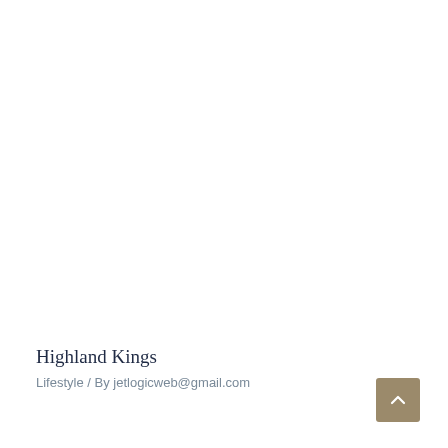Highland Kings
Lifestyle / By jetlogicweb@gmail.com